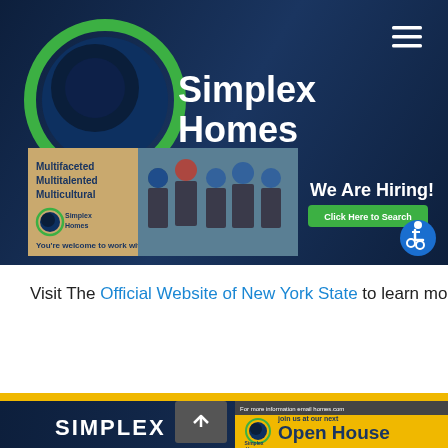[Figure (logo): Simplex Homes logo: circular green and navy icon with 'Simplex Homes' text in white on dark navy background, hamburger menu icon top right]
[Figure (infographic): Hiring banner: beige/gold background with 'Multifaceted Multitalented Multicultural' text, Simplex Homes logo, 'You're welcome to work with us!' text, photo of workers in blue hard hats. Right side: 'We Are Hiring!' white text, green 'Click Here to Search' button, blue accessibility icon]
Visit The Official Website of New York State to learn more!
[Figure (infographic): Bottom section: yellow strip, dark navy footer with 'SIMPLEX' white bold text. Right: gray bar with 'For more information email ..homes.com', yellow Open House panel with Simplex Homes logo, 'join us at our next Open House' text. Scroll-up button.]